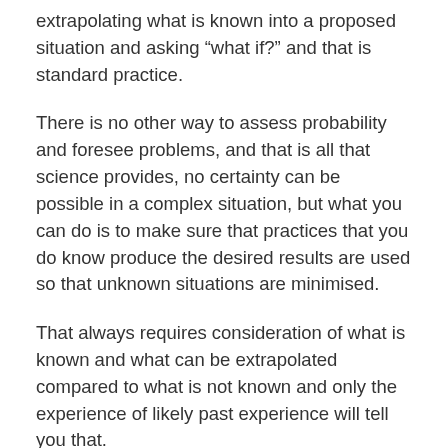extrapolating what is known into a proposed situation and asking “what if?” and that is standard practice.
There is no other way to assess probability and foresee problems, and that is all that science provides, no certainty can be possible in a complex situation, but what you can do is to make sure that practices that you do know produce the desired results are used so that unknown situations are minimised.
That always requires consideration of what is known and what can be extrapolated compared to what is not known and only the experience of likely past experience will tell you that.
Clearly none of this has been done by Egdon, they could have used correct practice throughout to minimise the risk. They have not done that however,